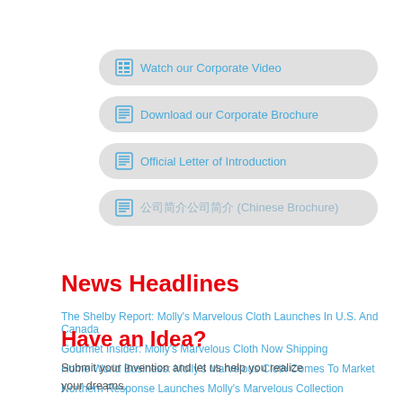Watch our Corporate Video
Download our Corporate Brochure
Official Letter of Introduction
公司简介 (Chinese Brochure)
News Headlines
The Shelby Report: Molly's Marvelous Cloth Launches In U.S. And Canada
Gourmet Insider: Molly's Marvelous Cloth Now Shipping
Home World Business: Molly's Marvelous Cloth Comes To Market
Northern Response Launches Molly's Marvelous Collection
Have an Idea?
Submit your invention and let us help you realize your dreams.